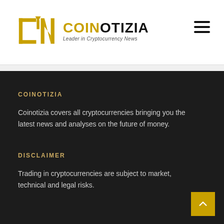COINOTIZIA — Leader in Cryptocurrency News
COINOTIZIA
Coinotizia covers all cryptocurrencies bringing you the latest news and analyses on the future of money.
DISCLAIMER
Trading in cryptocurrencies are subject to market, technical and legal risks.